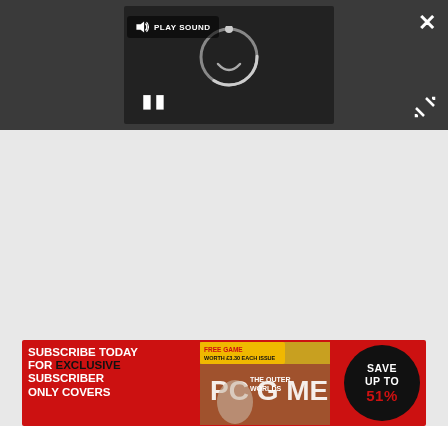[Figure (screenshot): Video player with dark background showing a loading spinner, pause button, play sound button, close (X) button, and expand/fullscreen button.]
[Figure (illustration): PC Gamer magazine subscription advertisement banner. Red background with text: SUBSCRIBE TODAY FOR EXCLUSIVE SUBSCRIBER ONLY COVERS. FREE GAME WORTH £3.30. Image of PC Gamer magazine cover featuring The Outer Worlds. Black circle badge: SAVE UP TO 51%.]